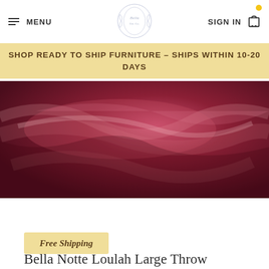MENU | [logo] | SIGN IN [cart]
SHOP READY TO SHIP FURNITURE - SHIPS WITHIN 10-20 DAYS
[Figure (photo): Close-up of crimson/dark red velvet or satin fabric with draped folds, used as product hero image]
Free Shipping
Bella Notte Loulah Large Throw Blanket